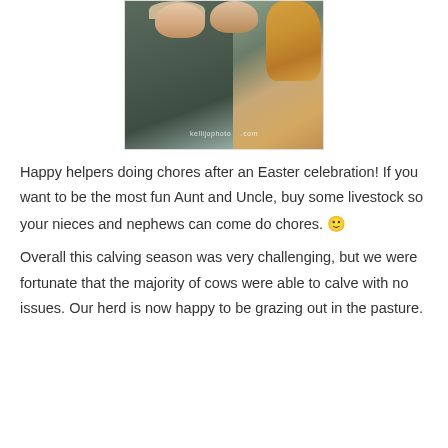[Figure (photo): Two people (children or young people) in dark hooded sweatshirts with a golden dog, selfie-style photo with watermark 'kellijophoto.com']
Happy helpers doing chores after an Easter celebration! If you want to be the most fun Aunt and Uncle, buy some livestock so your nieces and nephews can come do chores. 🙂
Overall this calving season was very challenging, but we were fortunate that the majority of cows were able to calve with no issues. Our herd is now happy to be grazing out in the pasture.